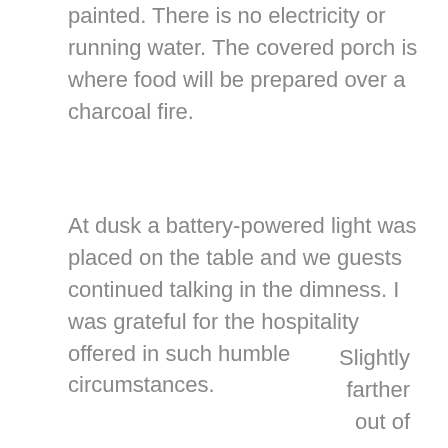painted.  There is no electricity or running water.  The covered porch is where food will be prepared over a charcoal fire.
At dusk a battery-powered light was placed on the table and we guests continued talking in the dimness.  I was grateful for the hospitality offered in such humble circumstances.
Slightly farther out of